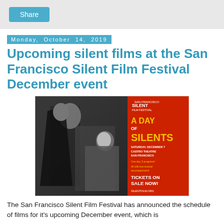Share
Monday, October 14, 2019
Upcoming silent films at the San Francisco Silent Film Festival December event
[Figure (photo): Promotional poster/image for the San Francisco Silent Film Festival 'A Day of Silents' event. Left half shows a black-and-white still from a silent film with two actors in a dramatic scene. Right half shows a red poster reading: SAN FRANCISCO SILENT FILM FESTIVAL / A DAY OF SILENTS / SATURDAY, DECEMBER 7 / CASTRO THEATRE SAN FRANCISCO / One day, 5 programs! / All with live musical accompaniment! / TICKETS ON SALE NOW! / SILENTFILM.ORG]
The San Francisco Silent Film Festival has announced the schedule of films for it's upcoming December event, which is